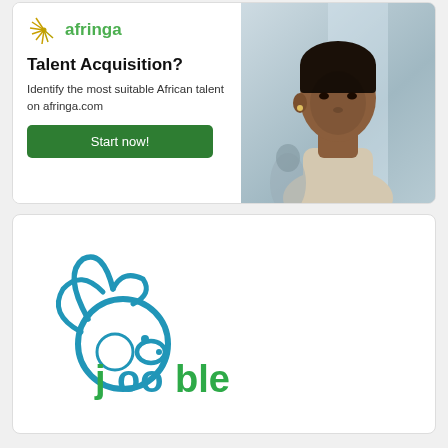[Figure (logo): Afringa brand logo with golden leaf/feather icon and green text 'afringa']
Talent Acquisition?
Identify the most suitable African talent on afringa.com
Start now!
[Figure (photo): Professional African woman with short hair wearing a light beige top, against a blurred office background]
[Figure (logo): Jooble logo — blue rabbit/animal icon with green and blue text 'jooble']